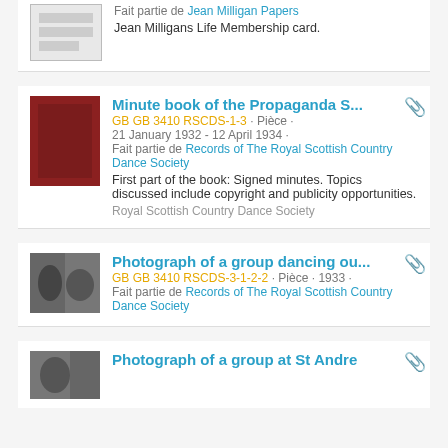Fait partie de Jean Milligan Papers
Jean Milligans Life Membership card.
Minute book of the Propaganda S...
GB GB 3410 RSCDS-1-3 · Pièce · 21 January 1932 - 12 April 1934 · Fait partie de Records of The Royal Scottish Country Dance Society
First part of the book: Signed minutes. Topics discussed include copyright and publicity opportunities.
Royal Scottish Country Dance Society
Photograph of a group dancing ou...
GB GB 3410 RSCDS-3-1-2-2 · Pièce · 1933 · Fait partie de Records of The Royal Scottish Country Dance Society
Photograph of a group at St Andre